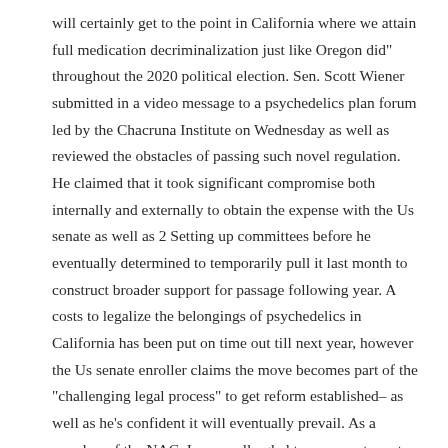will certainly get to the point in California where we attain full medication decriminalization just like Oregon did” throughout the 2020 political election. Sen. Scott Wiener submitted in a video message to a psychedelics plan forum led by the Chacruna Institute on Wednesday as well as reviewed the obstacles of passing such novel regulation. He claimed that it took significant compromise both internally and externally to obtain the expense with the Us senate as well as 2 Setting up committees before he eventually determined to temporarily pull it last month to construct broader support for passage following year. A costs to legalize the belongings of psychedelics in California has been put on time out till next year, however the Us senate enroller claims the move becomes part of the “challenging legal process” to get reform established– as well as he’s confident it will eventually prevail. As a member of the NAC, I was really glad to see peyote on top of the list of medications not to partake in.